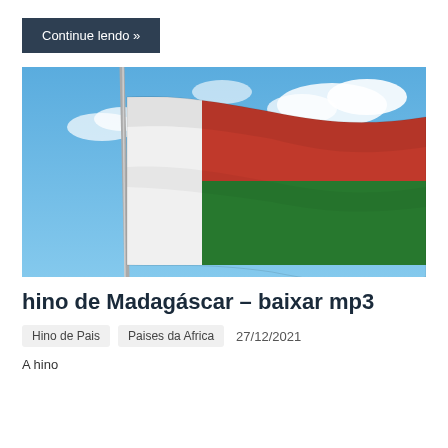Continue lendo »
[Figure (photo): Madagascar flag waving against a blue sky with clouds. The flag has a vertical white stripe on the left and two horizontal stripes on the right: red on top and green on bottom.]
hino de Madagáscar – baixar mp3
Hino de Pais    Paises da Africa    27/12/2021
A hino... [truncated bottom text]